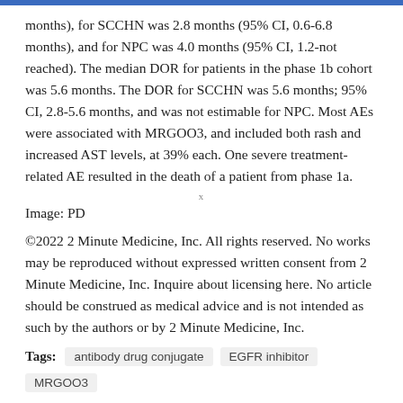months), for SCCHN was 2.8 months (95% CI, 0.6-6.8 months), and for NPC was 4.0 months (95% CI, 1.2-not reached). The median DOR for patients in the phase 1b cohort was 5.6 months. The DOR for SCCHN was 5.6 months; 95% CI, 2.8-5.6 months, and was not estimable for NPC. Most AEs were associated with MRGOO3, and included both rash and increased AST levels, at 39% each. One severe treatment-related AE resulted in the death of a patient from phase 1a.
Image: PD
©2022 2 Minute Medicine, Inc. All rights reserved. No works may be reproduced without expressed written consent from 2 Minute Medicine, Inc. Inquire about licensing here. No article should be construed as medical advice and is not intended as such by the authors or by 2 Minute Medicine, Inc.
Tags: antibody drug conjugate   EGFR inhibitor   MRGOO3